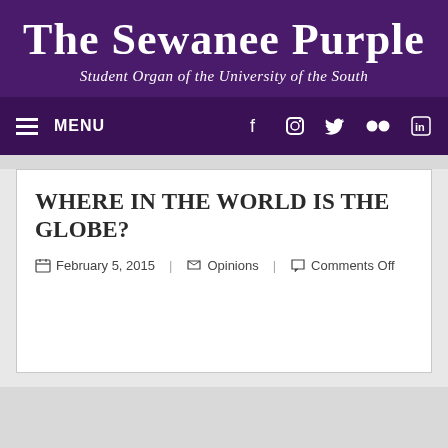The Sewanee Purple
Student Organ of the University of the South
[Figure (screenshot): Navigation bar with hamburger menu icon, MENU text, and social media icons for Facebook, Instagram, Twitter, Flickr, and LinkedIn on a dark purple background]
WHERE IN THE WORLD IS THE GLOBE?
February 5, 2015   Opinions   Comments Off